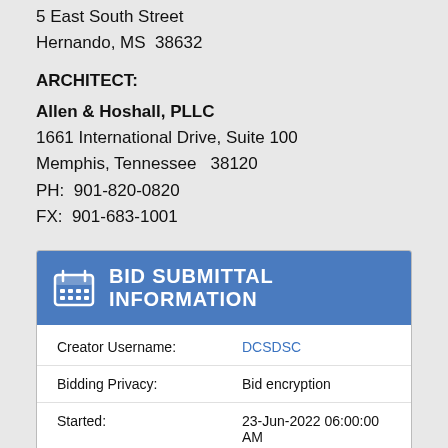5 East South Street
Hernando, MS  38632
ARCHITECT:
Allen & Hoshall, PLLC
1661 International Drive, Suite 100
Memphis, Tennessee   38120
PH:  901-820-0820
FX:  901-683-1001
BID SUBMITTAL INFORMATION
| Field | Value |
| --- | --- |
| Creator Username: | DCSDSC |
| Bidding Privacy: | Bid encryption |
| Started: | 23-Jun-2022 06:00:00 AM |
| Ends: | 26-Jul-2022 02:00:00 PM ( Expired ) |
| Hits: | 3174 |